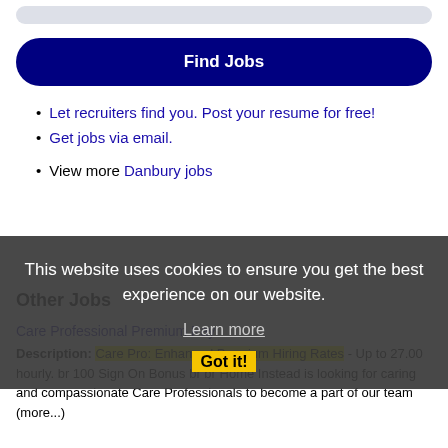[Figure (other): Rounded gray bar at top (partial UI element)]
Find Jobs
Let recruiters find you. Post your resume for free!
Get jobs via email.
View more Danbury jobs
This website uses cookies to ensure you get the best experience on our website. Learn more Got it!
Other Jobs
Care Professional Premium Pay Description: Care Pro: Enhanced Premium Hiring Rates - Up to 27.00 hourly. br 100 Sign On Bonus br br Home Instead is looking for caring and compassionate Care Professionals to become a part of our team (more...)